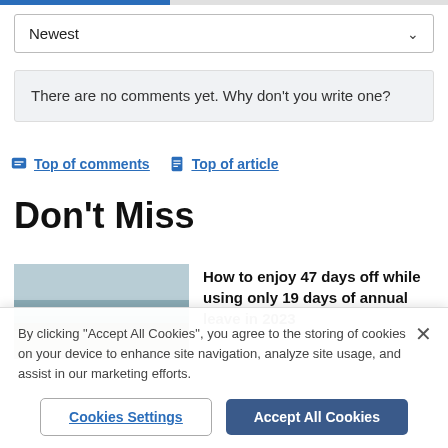[Figure (screenshot): Blue progress bar at top of page, approximately 38% filled]
Newest
There are no comments yet. Why don't you write one?
Top of comments
Top of article
Don't Miss
How to enjoy 47 days off while using only 19 days of annual leave in 2023
By clicking "Accept All Cookies", you agree to the storing of cookies on your device to enhance site navigation, analyze site usage, and assist in our marketing efforts.
Cookies Settings
Accept All Cookies